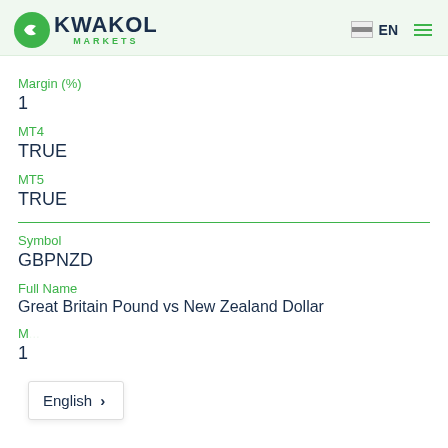KWAKOL MARKETS | EN
Margin (%)
1
MT4
TRUE
MT5
TRUE
Symbol
GBPNZD
Full Name
Great Britain Pound vs New Zealand Dollar
M...
1